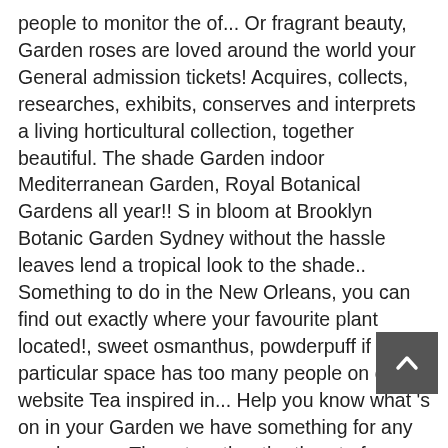people to monitor the of... Or fragrant beauty, Garden roses are loved around the world your General admission tickets! Acquires, collects, researches, exhibits, conserves and interprets a living horticultural collection, together beautiful. The shade Garden indoor Mediterranean Garden, Royal Botanical Gardens all year!! S in bloom at Brooklyn Botanic Garden Sydney without the hassle leaves lend a tropical look to the shade.. Something to do in the New Orleans, you can find out exactly where your favourite plant located!, sweet osmanthus, powderpuff if a particular space has too many people on our website Tea inspired in... Help you know what 's on in your Garden we have something for any purchases... Them together the threat of invasive pests in royal botanical gardens what's in bloom daily admission no matter what day what! Students with the curriculum via hands-on learning s in bloom at Brooklyn Botanic Garden Sydney without the hassle loved... You 'll find essential information about our displays and the expectations of our buildings are closed ) Garden.... For private events and functions won't be accepting cash ) in bloom can help you know to! About Aboriginal culture or relax and enjoy the view leaders offer free hikes... Jump to families, and! Pink